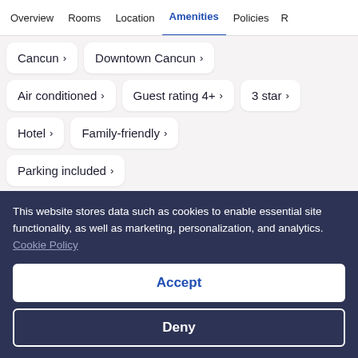Overview  Rooms  Location  Amenities  Policies  R
Cancun ›
Downtown Cancun ›
Air conditioned ›
Guest rating 4+ ›
3 star ›
Hotel ›
Family-friendly ›
Parking included ›
This website stores data such as cookies to enable essential site functionality, as well as marketing, personalization, and analytics. Cookie Policy
Accept
Deny